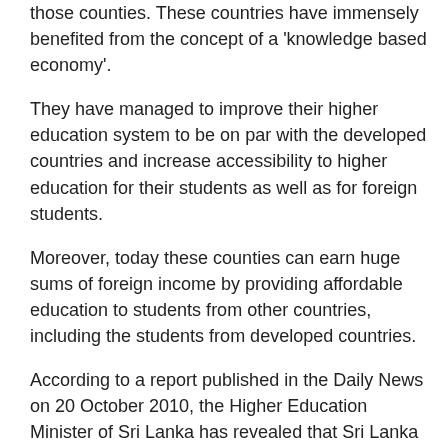those counties. These countries have immensely benefited from the concept of a 'knowledge based economy'.
They have managed to improve their higher education system to be on par with the developed countries and increase accessibility to higher education for their students as well as for foreign students.
Moreover, today these counties can earn huge sums of foreign income by providing affordable education to students from other countries, including the students from developed countries.
According to a report published in the Daily News on 20 October 2010, the Higher Education Minister of Sri Lanka has revealed that Sri Lanka is spending Rs. 15 billion to Rs. 20 billion annually on foreign education. Further, he has stressed that Sri Lanka could save this amount with the establishment of the foreign university branches locally.